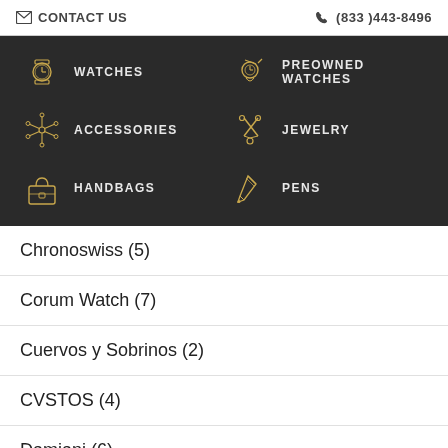CONTACT US | (833)443-8496
[Figure (infographic): Dark navigation bar with 6 category items: WATCHES, PREOWNED WATCHES, ACCESSORIES, JEWELRY, HANDBAGS, PENS — each with a gold icon]
Chronoswiss (5)
Corum Watch (7)
Cuervos y Sobrinos (2)
CVSTOS (4)
Damiani (6)
De Grisogono (3)
Dirk Bikkembergs (1)